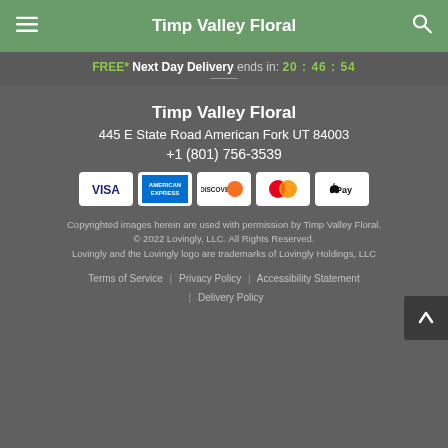Timp Valley Floral
FREE* Next Day Delivery ends in: 20:46:54
Timp Valley Floral
445 E State Road American Fork UT 84003
+1 (801) 756-3539
[Figure (other): Payment method icons: Visa, American Express, Discover, Mastercard, Apple Pay]
Copyrighted images herein are used with permission by Timp Valley Floral.
© 2022 Lovingly, LLC. All Rights Reserved.
Lovingly and the Lovingly logo are trademarks of Lovingly Holdings, LLC
Terms of Service | Privacy Policy | Accessibility Statement | Delivery Policy